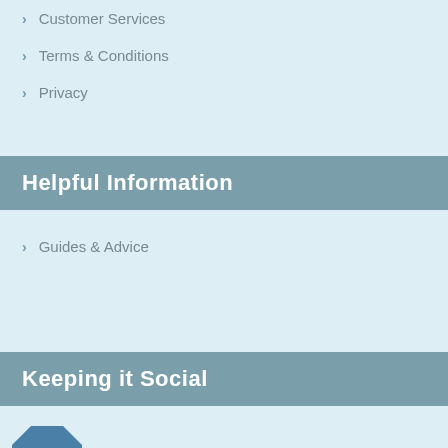Customer Services
Terms & Conditions
Privacy
Helpful Information
Guides & Advice
Keeping it Social
[Figure (logo): Blue octagon email/envelope icon]
am - Follow us
[Figure (logo): Facebook blue circle icon with f]
Facebook - Follow us